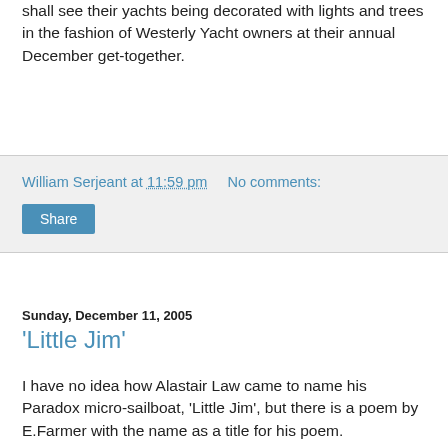shall see their yachts being decorated with lights and trees in the fashion of Westerly Yacht owners at their annual December get-together.
William Serjeant at 11:59 pm   No comments:
Share
Sunday, December 11, 2005
'Little Jim'
I have no idea how Alastair Law came to name his Paradox micro-sailboat, 'Little Jim', but there is a poem by E.Farmer with the name as a title for his poem.
The cottage was a thatch'd one,
The outside old and mean,
Yet everything within that cot
Was wondrous neat and clean.
The night was dark and stormy,